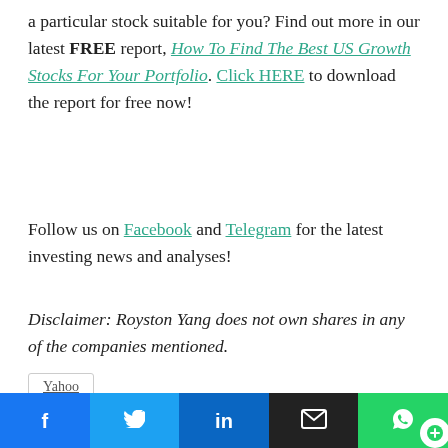a particular stock suitable for you? Find out more in our latest FREE report, How To Find The Best US Growth Stocks For Your Portfolio. Click HERE to download the report for free now!
Follow us on Facebook and Telegram for the latest investing news and analyses!
Disclaimer: Royston Yang does not own shares in any of the companies mentioned.
Yahoo
[Figure (infographic): Social media share buttons: Facebook (blue), Twitter (light blue), LinkedIn (dark blue), Email (black), WhatsApp (green) with chat bubble icon]